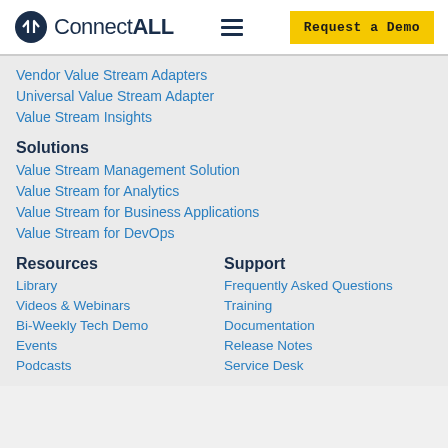ConnectALL — Request a Demo
Vendor Value Stream Adapters
Universal Value Stream Adapter
Value Stream Insights
Solutions
Value Stream Management Solution
Value Stream for Analytics
Value Stream for Business Applications
Value Stream for DevOps
Resources
Library
Videos & Webinars
Bi-Weekly Tech Demo
Events
Podcasts
Support
Frequently Asked Questions
Training
Documentation
Release Notes
Service Desk